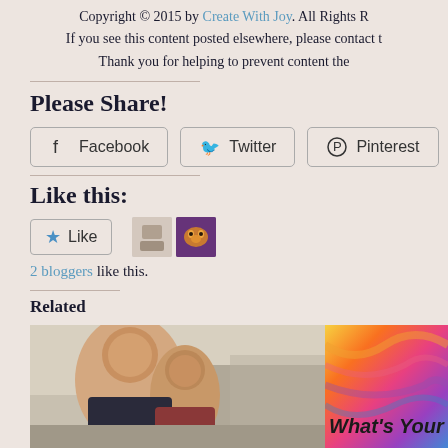Copyright © 2015 by Create With Joy. All Rights R
If you see this content posted elsewhere, please contact t
Thank you for helping to prevent content the
Please Share!
[Figure (screenshot): Social share buttons: Facebook, Twitter, Pinterest]
Like this:
[Figure (screenshot): WordPress Like button widget with star icon and 2 blogger avatars]
2 bloggers like this.
Related
[Figure (photo): Photo of a woman and child smiling at an event]
[Figure (infographic): Colorful swirled background with text: What's Your Fav]